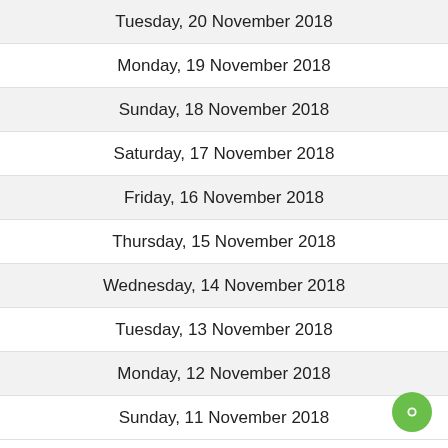Tuesday, 20 November 2018
Monday, 19 November 2018
Sunday, 18 November 2018
Saturday, 17 November 2018
Friday, 16 November 2018
Thursday, 15 November 2018
Wednesday, 14 November 2018
Tuesday, 13 November 2018
Monday, 12 November 2018
Sunday, 11 November 2018